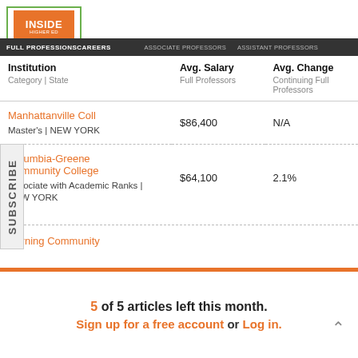Inside Higher Ed | Full Professors | Careers | Associate Professors | Assistant Professors
| Institution
Category | State | Avg. Salary
Full Professors | Avg. Change
Continuing Full Professors |
| --- | --- | --- |
| Manhattanville Coll
Master's | NEW YORK | $86,400 | N/A |
| Columbia-Greene Community College
Associate with Academic Ranks | NEW YORK | $64,100 | 2.1% |
| Corning Community |  |  |
SUBSCRIBE
5 of 5 articles left this month.
Sign up for a free account or Log in.